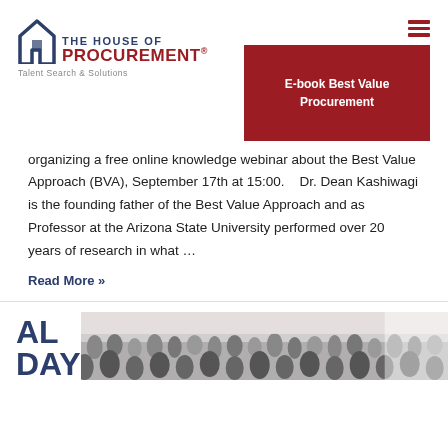[Figure (logo): The House of Procurement logo with house icon, text 'THE HOUSE OF PROCUREMENT® Talent Search & Solutions']
[Figure (other): Hamburger menu icon (three red horizontal bars)]
[Figure (other): Dark red button with text 'E-book Best Value Procurement']
organizing a free online knowledge webinar about the Best Value Approach (BVA), September 17th at 15:00.    Dr. Dean Kashiwagi is the founding father of the Best Value Approach and as Professor at the Arizona State University performed over 20 years of research in what …
Read More »
[Figure (photo): Bottom section showing partial text 'AL DAY' in large bold blue letters on the left, and a crowd of people at an event/conference on the right]